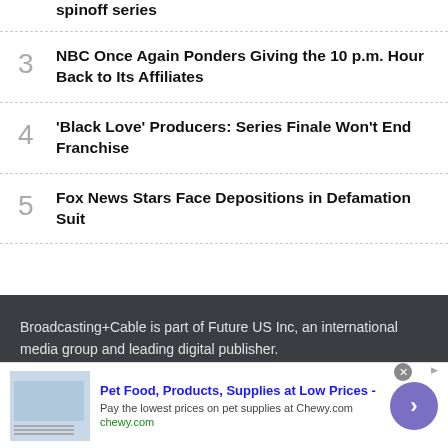spinoff series
3  NBC Once Again Ponders Giving the 10 p.m. Hour Back to Its Affiliates
4  ‘Black Love’ Producers: Series Finale Won’t End Franchise
5  Fox News Stars Face Depositions in Defamation Suit
Broadcasting+Cable is part of Future US Inc, an international media group and leading digital publisher. Visit our corporate site
[Figure (other): Advertisement banner: Pet Food, Products, Supplies at Low Prices - chewy.com]